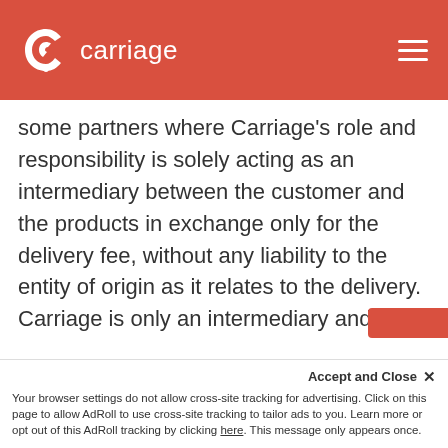carriage
some partners where Carriage's role and responsibility is solely acting as an intermediary between the customer and the products in exchange only for the delivery fee, without any liability to the entity of origin as it relates to the delivery. Carriage is only an intermediary and it's not responsible for the preparation of the items. The Partner may offer an alternative for any Product they cannot provide you with. Please call our Partner Restaurant prior to ordering if you have an allergy. Carriage cannot guarantee
Accept and Close ✕
Your browser settings do not allow cross-site tracking for advertising. Click on this page to allow AdRoll to use cross-site tracking to tailor ads to you. Learn more or opt out of this AdRoll tracking by clicking here. This message only appears once.